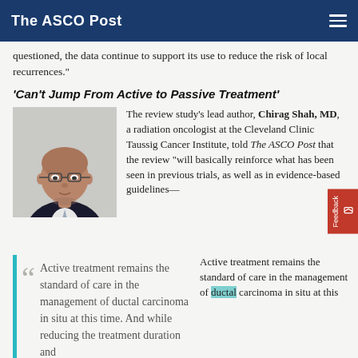The ASCO Post
questioned, the data continue to support its use to reduce the risk of local recurrences."
'Can't Jump From Active to Passive Treatment'
[Figure (photo): Professional headshot of Chirag Shah, MD, a bald man wearing glasses and a dark suit with a tie, against a light background.]
The review study's lead author, Chirag Shah, MD, a radiation oncologist at the Cleveland Clinic Taussig Cancer Institute, told The ASCO Post that the review "will basically reinforce what has been seen in previous trials, as well as in evidence-based guidelines— Active treatment remains the standard of care in the management of ductal carcinoma in situ at this
Active treatment remains the standard of care in the management of ductal carcinoma in situ at this time. And while reducing the treatment duration and
Active treatment remains the standard of care in the management of ductal carcinoma in situ at this